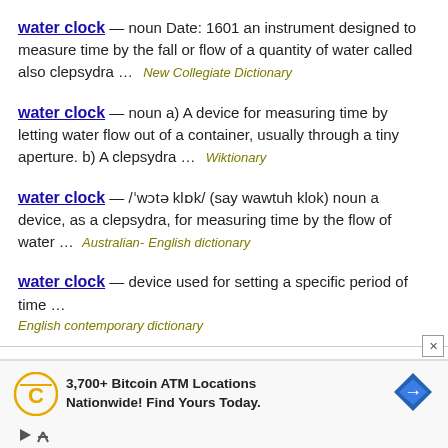water clock — noun Date: 1601 an instrument designed to measure time by the fall or flow of a quantity of water called also clepsydra … New Collegiate Dictionary
water clock — noun a) A device for measuring time by letting water flow out of a container, usually through a tiny aperture. b) A clepsydra … Wiktionary
water clock — /ˈwɔtə klɒk/ (say wawtuh klok) noun a device, as a clepsydra, for measuring time by the flow of water … Australian-English dictionary
water clock — device used for setting a specific period of time … English contemporary dictionary
[Figure (infographic): Advertisement banner: 3,700+ Bitcoin ATM Locations Nationwide! Find Yours Today. with Coinstar-style logo and blue diamond navigation icon. Close button top right. Play and X controls bottom left.]